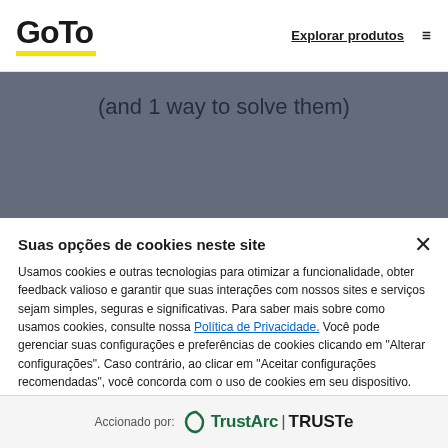[Figure (logo): GoTo logo with yellow underline]
Explorar produtos ≡
(and 1 way to solve them)
Suas opções de cookies neste site
Usamos cookies e outras tecnologias para otimizar a funcionalidade, obter feedback valioso e garantir que suas interações com nossos sites e serviços sejam simples, seguras e significativas. Para saber mais sobre como usamos cookies, consulte nossa Política de Privacidade. Você pode gerenciar suas configurações e preferências de cookies clicando em "Alterar configurações". Caso contrário, ao clicar em "Aceitar configurações recomendadas", você concorda com o uso de cookies em seu dispositivo.
Alterar configurações
Aceitar configurações recomendadas
Accionado por: TrustArc | TRUSTe